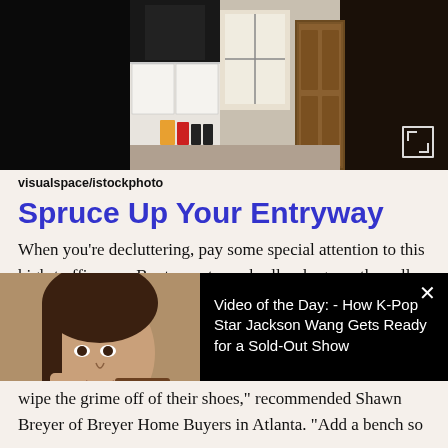[Figure (photo): Interior kitchen/entryway scene showing a white kitchen on the left with black appliances and a wooden cabinet/armoire on the right. The scene has a dark left side and a light center with a window.]
visualspace/istockphoto
Spruce Up Your Entryway
When you're decluttering, pay some special attention to this high-traffic area. Boots, coats, umbrellas, bags — they all tend to clog the entryway. Nicole Gittens, principal designer with New Vision Interiors and Events near Seattle,
[Figure (screenshot): Video overlay showing a young woman looking surprised while holding makeup products on the left thumbnail, and text on the right reading 'Video of the Day: - How K-Pop Star Jackson Wang Gets Ready for a Sold-Out Show' with a close (x) button in the top right corner.]
wipe the grime off of their shoes," recommended Shawn Breyer of  Breyer Home Buyers in Atlanta. "Add a bench so